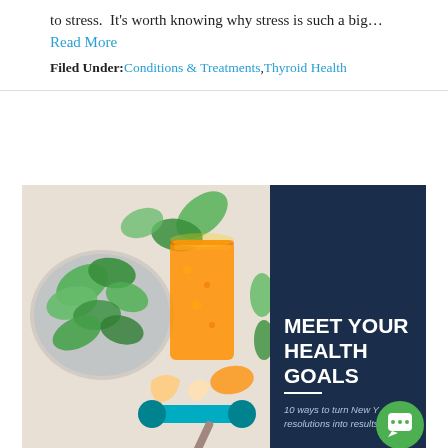to stress. It's worth knowing why stress is such a big… Read More
Filed Under: Conditions & Treatments, Thyroid Health
[Figure (photo): Health and wellness photo showing a smoothie glass, spinach leaves in a bowl, a teal dumbbell, ginger pieces, and a cinnamon stick on a white surface. Right side has a dark navy overlay panel with bold white text reading 'MEET YOUR HEALTH GOALS' followed by a white divider line and italic text '10 ways to turn New Year's resolutions into results'. A green circular chat button is in the lower right corner.]